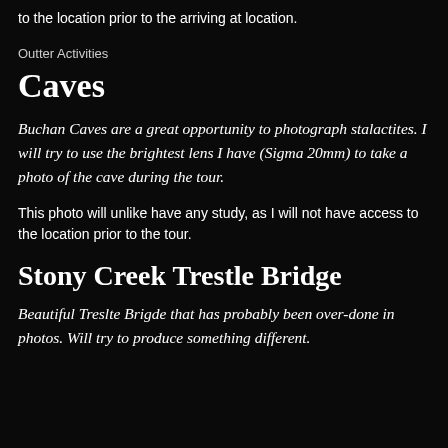to the location prior to the arriving at location.
Outter Activities
Caves
Buchan Caves are a great opportunity to photograph stalactites. I will try to use the brightest lens I have (Sigma 20mm) to take a photo of the cave during the tour.
This photo will unlike have any study, as I will not have access to the location prior to the tour.
Stony Creek Trestle Bridge
Beautiful Treslte Brigde that has probably been over-done in photos. Will try to produce something different.